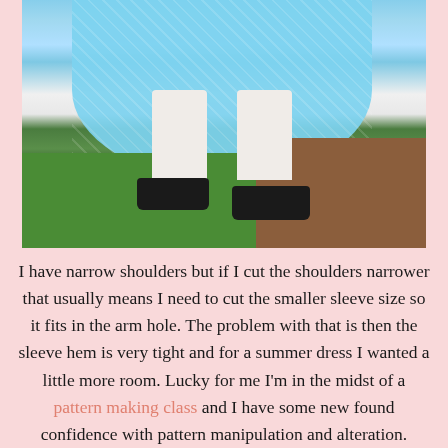[Figure (photo): Photo of a person wearing a light blue floral full skirt/dress, showing from the waist down. The person is standing on grass wearing black flat shoes. Background shows grass and mulch/bark garden bed.]
I have narrow shoulders but if I cut the shoulders narrower that usually means I need to cut the smaller sleeve size so it fits in the arm hole. The problem with that is then the sleeve hem is very tight and for a summer dress I wanted a little more room. Lucky for me I'm in the midst of a pattern making class and I have some new found confidence with pattern manipulation and alteration.